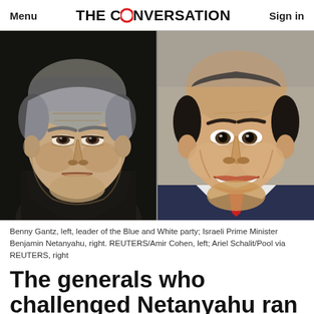Menu | THE CONVERSATION | Sign in
[Figure (photo): Side-by-side photos: Benny Gantz on the left (stern expression, dark background) and Israeli Prime Minister Benjamin Netanyahu on the right (smiling, lighter background).]
Benny Gantz, left, leader of the Blue and White party; Israeli Prime Minister Benjamin Netanyahu, right. REUTERS/Amir Cohen, left; Ariel Schalit/Pool via REUTERS, right
The generals who challenged Netanyahu ran a campaign largely devoid of substance